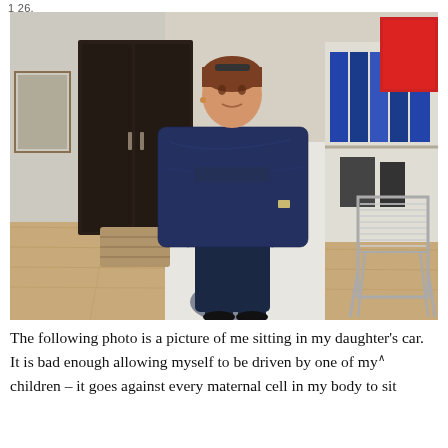1 26.
[Figure (photo): A woman standing indoors holding up a dark navy blue sweater/jumper in front of her with both hands. She is wearing a navy blue outfit and has short brown hair with sunglasses on top of her head. The room behind her has a dark wooden wardrobe, a white fireplace, a bookshelf with binders, a metal chair, and a red artwork on the wall. The floor is light wood laminate.]
The following photo is a picture of me sitting in my daughter's car. It is bad enough allowing myself to be driven by one of my children – it goes against every maternal cell in my body to sit